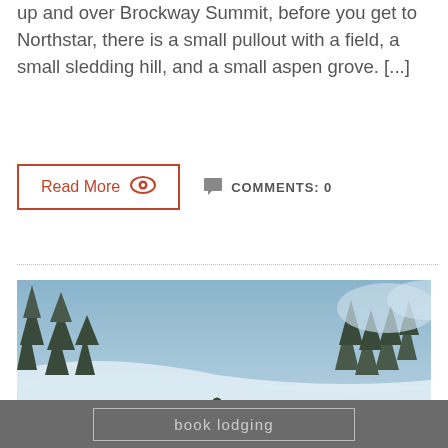up and over Brockway Summit, before you get to Northstar, there is a small pullout with a field, a small sledding hill, and a small aspen grove. [...]
Read More   COMMENTS: 0
[Figure (photo): A snowboarder riding through deep powder snow with snow-covered pine trees in the background]
book lodging